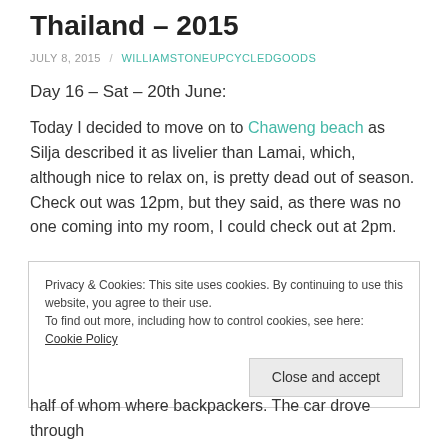Thailand – 2015
JULY 8, 2015 / WILLIAMSTONEUPCYCLEDGOODS
Day 16 – Sat – 20th June:
Today I decided to move on to Chaweng beach as Silja described it as livelier than Lamai, which, although nice to relax on, is pretty dead out of season. Check out was 12pm, but they said, as there was no one coming into my room, I could check out at 2pm.
Privacy & Cookies: This site uses cookies. By continuing to use this website, you agree to their use. To find out more, including how to control cookies, see here: Cookie Policy
half of whom where backpackers. The car drove through